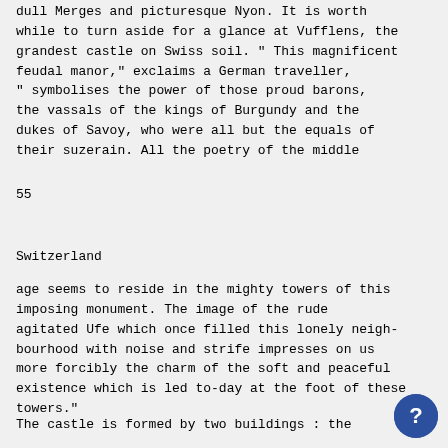dull Merges and picturesque Nyon. It is worth while to turn aside for a glance at Vufflens, the grandest castle on Swiss soil. " This magnificent feudal manor," exclaims a German traveller, " symbolises the power of those proud barons, the vassals of the kings of Burgundy and the dukes of Savoy, who were all but the equals of their suzerain. All the poetry of the middle
55
Switzerland
age seems to reside in the mighty towers of this imposing monument. The image of the rude agitated Ufe which once filled this lonely neigh-bourhood with noise and strife impresses on us more forcibly the charm of the soft and peaceful existence which is led to-day at the foot of these towers."
The castle is formed by two buildings : the